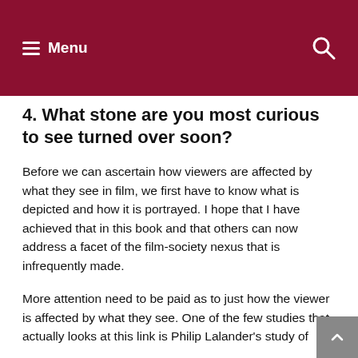Menu
4.  What stone are you most curious to see turned over soon?
Before we can ascertain how viewers are affected by what they see in film, we first have to know what is depicted and how it is portrayed.  I hope that I have achieved that in this book and that others can now address a facet of the film-society nexus that is infrequently made.
More attention need to be paid as to just how the viewer is affected by what they see.  One of the few studies that actually looks at this link is Philip Lalander's study of